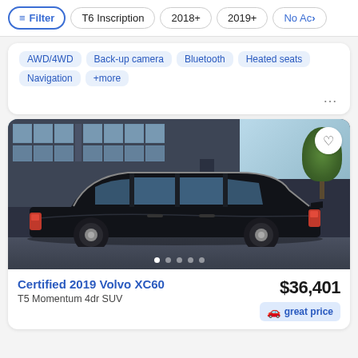Filter | T6 Inscription | 2018+ | 2019+ | No Ac...
AWD/4WD  Back-up camera  Bluetooth  Heated seats  Navigation  +more
[Figure (photo): Side view of a black 2019 Volvo XC60 SUV parked in front of a modern building with large glass windows and trees in background]
Certified 2019 Volvo XC60
T5 Momentum 4dr SUV
$36,401
great price